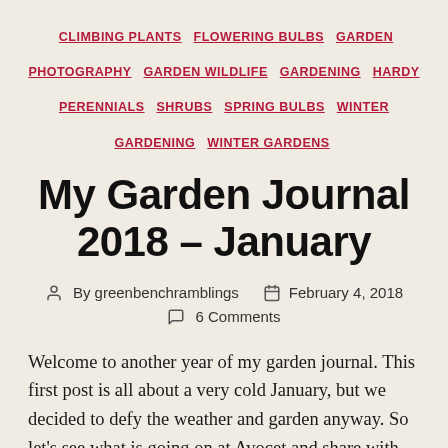CLIMBING PLANTS  FLOWERING BULBS  GARDEN PHOTOGRAPHY  GARDEN WILDLIFE  GARDENING  HARDY PERENNIALS  SHRUBS  SPRING BULBS  WINTER GARDENING  WINTER GARDENS
My Garden Journal 2018 – January
By greenbenchramblings   February 4, 2018   6 Comments
Welcome to another year of my garden journal. This first post is all about a very cold January, but we decided to defy the weather and garden anyway. So let's see what is going on at Avocet and share with you our jobs